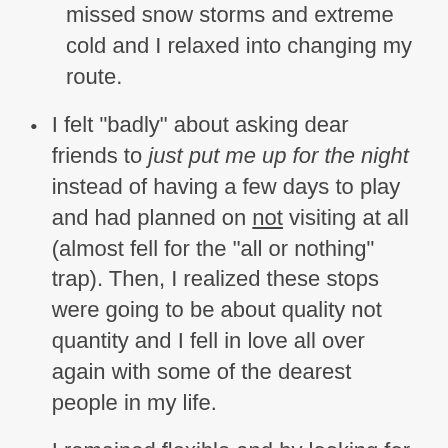missed snow storms and extreme cold and I relaxed into changing my route.
I felt "badly" about asking dear friends to just put me up for the night instead of having a few days to play and had planned on not visiting at all (almost fell for the "all or nothing" trap). Then, I realized these stops were going to be about quality not quantity and I fell in love all over again with some of the dearest people in my life.
I remained flexible and by looking for loopholes I found them! For example, this meant sometimes staying for